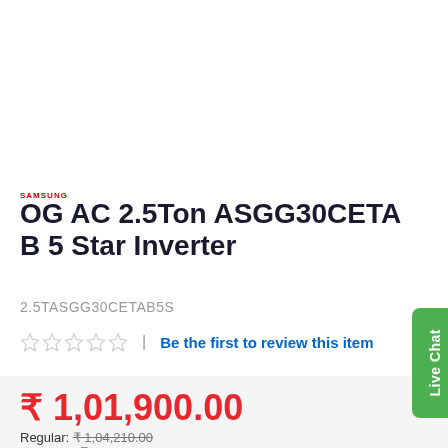SAMSUNG
OG AC 2.5Ton ASGG30CETA B 5 Star Inverter
2.5TASGG30CETAB5S
☆☆☆☆☆  |  Be the first to review this item
₹ 1,01,900.00
Regular: ₹ 1,04,210.00
You save: ₹ 2,310.00 (2 %)